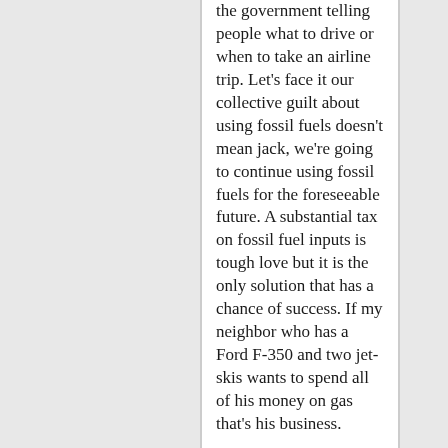the government telling people what to drive or when to take an airline trip. Let's face it our collective guilt about using fossil fuels doesn't mean jack, we're going to continue using fossil fuels for the foreseeable future. A substantial tax on fossil fuel inputs is tough love but it is the only solution that has a chance of success. If my neighbor who has a Ford F-350 and two jet-skis wants to spend all of his money on gas that's his business.
I also don't buy that our economy would collapse with gas prices that high.